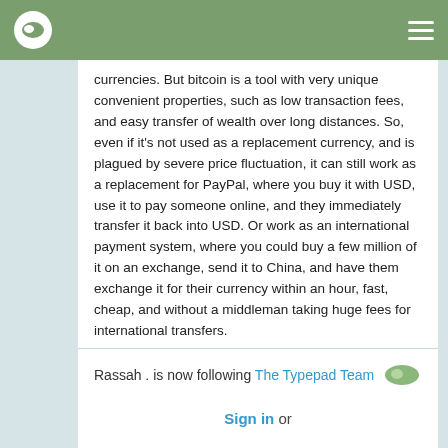Navigation bar with logo and menu
currencies. But bitcoin is a tool with very unique convenient properties, such as low transaction fees, and easy transfer of wealth over long distances. So, even if it's not used as a replacement currency, and is plagued by severe price fluctuation, it can still work as a replacement for PayPal, where you buy it with USD, use it to pay someone online, and they immediately transfer it back into USD. Or work as an international payment system, where you could buy a few million of it on an exchange, send it to China, and have them exchange it for their currency within an hour, fast, cheap, and without a middleman taking huge fees for international transfers.
Commented Jul 20, 2011 on Bitcoin at Terra Nova
Rassah . is now following The Typepad Team  Jul 20, 2011
Subscribe to Rassah .'s Recent Activity
Sign in or